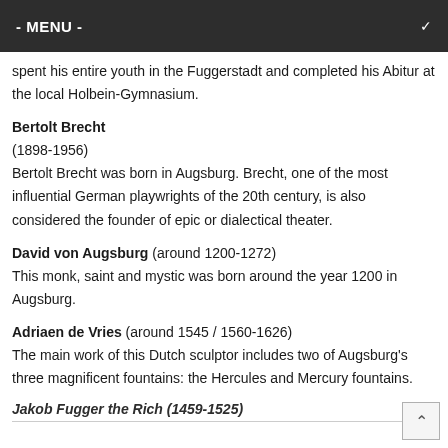- MENU -
spent his entire youth in the Fuggerstadt and completed his Abitur at the local Holbein-Gymnasium.
Bertolt Brecht
(1898-1956)
Bertolt Brecht was born in Augsburg. Brecht, one of the most influential German playwrights of the 20th century, is also considered the founder of epic or dialectical theater.
David von Augsburg (around 1200-1272)
This monk, saint and mystic was born around the year 1200 in Augsburg.
Adriaen de Vries (around 1545 / 1560-1626)
The main work of this Dutch sculptor includes two of Augsburg's three magnificent fountains: the Hercules and Mercury fountains.